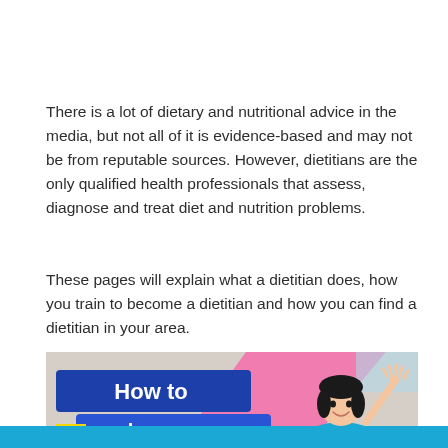There is a lot of dietary and nutritional advice in the media, but not all of it is evidence-based and may not be from reputable sources. However, dietitians are the only qualified health professionals that assess, diagnose and treat diet and nutrition problems.
These pages will explain what a dietitian does, how you train to become a dietitian and how you can find a dietitian in your area.
[Figure (infographic): Infographic panel showing 'How to become a' text in blue and white letters on a colourful background with a cartoon illustration of a smiling woman waving, with pink and teal geometric shapes. A blue bar is visible at the bottom.]